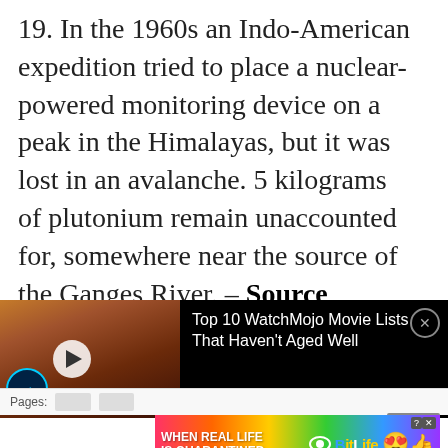19. In the 1960s an Indo-American expedition tried to place a nuclear-powered monitoring device on a peak in the Himalayas, but it was lost in an avalanche. 5 kilograms of plutonium remain unaccounted for, somewhere near the source of the Ganges River. – Source
[Figure (screenshot): Video advertisement showing a WatchMojo video thumbnail with a male figure (Anakin Skywalker from Star Wars) on the left, and text 'Top 10 WatchMojo Movie Lists That Haven't Aged Well' on black background to the right, with a close (X) button in top right corner]
[Figure (screenshot): Bottom banner advertisement for BitLife mobile game with colorful gradient background, text 'WHEN REAL LIFE IS QUARANTINED' on left, BitLife logo in center, and emoji icons on right, with a Close X button above it]